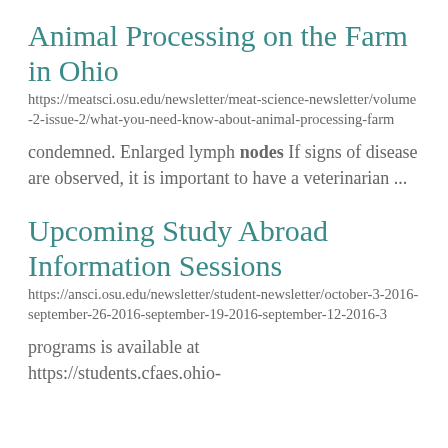Animal Processing on the Farm in Ohio
https://meatsci.osu.edu/newsletter/meat-science-newsletter/volume-2-issue-2/what-you-need-know-about-animal-processing-farm
condemned. Enlarged lymph nodes If signs of disease are observed, it is important to have a veterinarian ...
Upcoming Study Abroad Information Sessions
https://ansci.osu.edu/newsletter/student-newsletter/october-3-2016-september-26-2016-september-19-2016-september-12-2016-3
programs is available at
https://students.cfaes.ohio-